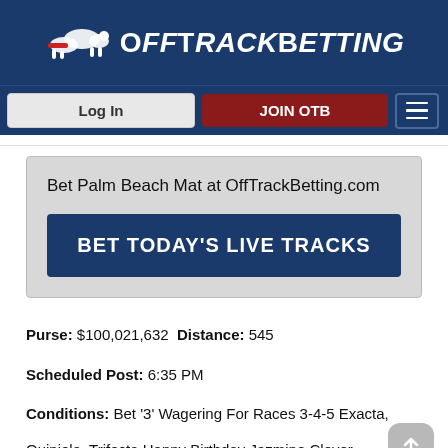OffTrackBetting
Log In | JOIN OTB
Bet Palm Beach Mat at OffTrackBetting.com
BET TODAY'S LIVE TRACKS
Purse: $100,021,632 Distance: 545
Scheduled Post: 6:35 PM
Conditions: Bet '3' Wagering For Races 3-4-5 Exacta, Quiniola, Trifecta Happy Birthday Jazmine Clover